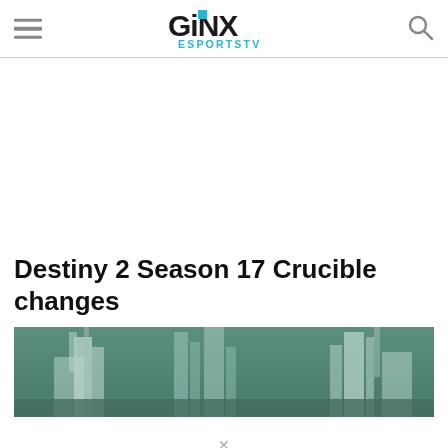GINX ESPORTS TV
Destiny 2 Season 17 Crucible changes
[Figure (screenshot): Hero image showing a dark green-tinted panoramic screenshot from Destiny 2 featuring tall architectural structures and city scenery]